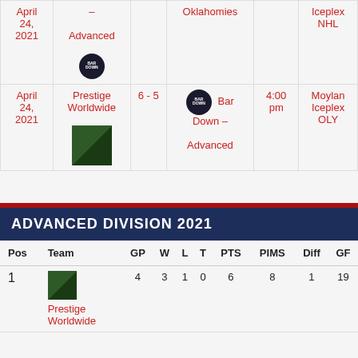| Date | Team | Score | Winner | Time | Rink |
| --- | --- | --- | --- | --- | --- |
| April 24, 2021 | – Advanced [Bar Down logo] |  | Oklahomies |  | Iceplex NHL |
| April 24, 2021 | Prestige Worldwide | 6 - 5 | Bar Down – Advanced | 4:00 pm | Moylan Iceplex OLY |
ADVANCED DIVISION 2021
| Pos | Team | GP | W | L | T | PTS | PIMS | Diff | GF |
| --- | --- | --- | --- | --- | --- | --- | --- | --- | --- |
| 1 | Prestige Worldwide | 4 | 3 | 1 | 0 | 6 | 8 | 1 | 19 |